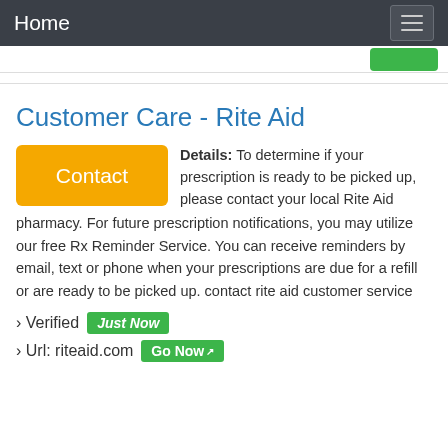Home
Customer Care - Rite Aid
Details: To determine if your prescription is ready to be picked up, please contact your local Rite Aid pharmacy. For future prescription notifications, you may utilize our free Rx Reminder Service. You can receive reminders by email, text or phone when your prescriptions are due for a refill or are ready to be picked up. contact rite aid customer service
› Verified Just Now
› Url: riteaid.com Go Now